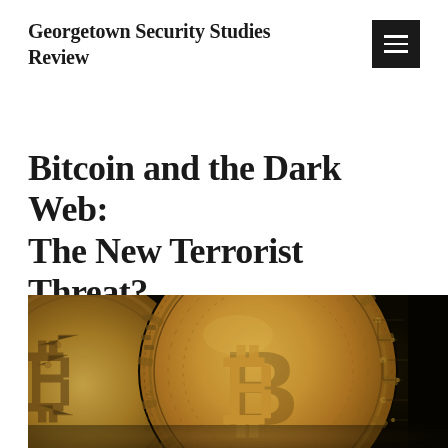Georgetown Security Studies Review
Bitcoin and the Dark Web: The New Terrorist Threat?
[Figure (photo): Close-up photograph of gold Bitcoin physical coins with the Bitcoin 'B' symbol engraved, showing circuit board patterns around the edges, dark background.]